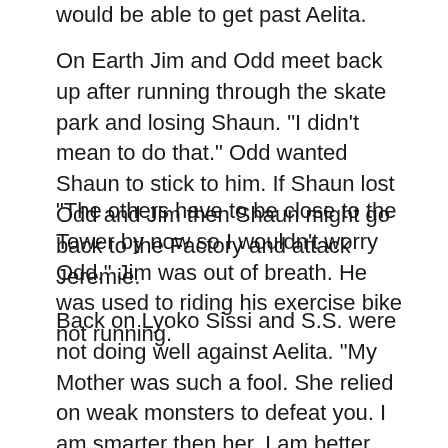would be able to get past Aelita.
On Earth Jim and Odd meet back up after running through the skate park and losing Shaun. "I didn't mean to do that." Odd wanted Shaun to stick to him. If Shaun lost Odd and Jim then Shaun might go back to the Factory and attack Jeremie.
"The others have to be close to the Tower by now so I wouldn't worry Odd." Jim was out of breath. He was used to riding his exercise bike not running.
Back on Lyoko Sissi and S.S. were not doing well against Aelita. "My Mother was such a fool. She relied on weak monsters to defeat you. I am smarter then her, I am better then her!" Aelita has Sissi caught in a web of energy. "We would have lost if she was anywhere near as smart as I! If she had just once done what I've done she would have won." Aelita laughs as the web of